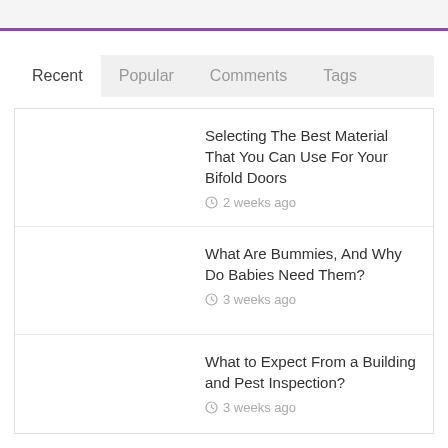Recent | Popular | Comments | Tags
Selecting The Best Material That You Can Use For Your Bifold Doors
2 weeks ago
What Are Bummies, And Why Do Babies Need Them?
3 weeks ago
What to Expect From a Building and Pest Inspection?
3 weeks ago
The Crucial Benefits Of Water Damage Repair
4 weeks ago